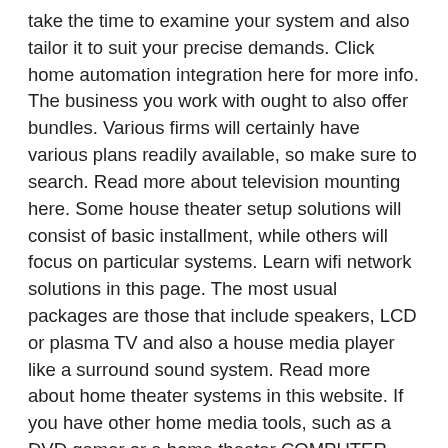take the time to examine your system and also tailor it to suit your precise demands. Click home automation integration here for more info. The business you work with ought to also offer bundles. Various firms will certainly have various plans readily available, so make sure to search. Read more about television mounting here. Some house theater setup solutions will consist of basic installment, while others will focus on particular systems. Learn wifi network solutions in this page. The most usual packages are those that include speakers, LCD or plasma TV and also a house media player like a surround sound system. Read more about home theater systems in this website. If you have other home media tools, such as a DVD gamer or a home theater COMPUTER, you may also have the ability to get discounts on extra equipment. Check custom home theater here. Also, be sure that the residence cinema installation firm you're collaborating with has an excellent reputation for completing a work well. Discover more about distributed audio design in this site. They should have ended up spaces, carpeted floorings, as well as set up all of the pieces to excellence. Check it out! tv installation in this homepage. If you are having a custom residence theater layout made, ask if the firm provides this service. Click tv mounting here for more details.Frequently,